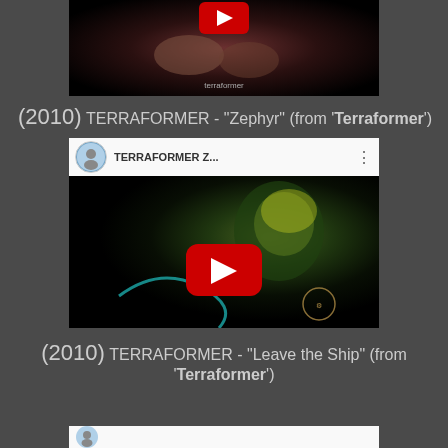[Figure (screenshot): Partial YouTube video thumbnail at top of page showing a dark reddish image]
(2010) TERRAFORMER - "Zephyr" (from 'Terraformer')
[Figure (screenshot): YouTube video embed for TERRAFORMER Z... showing a dark green glowing creature image with red YouTube play button and channel avatar]
(2010) TERRAFORMER - "Leave the Ship" (from 'Terraformer')
[Figure (screenshot): Partial YouTube video thumbnail at bottom of page, showing top header bar]